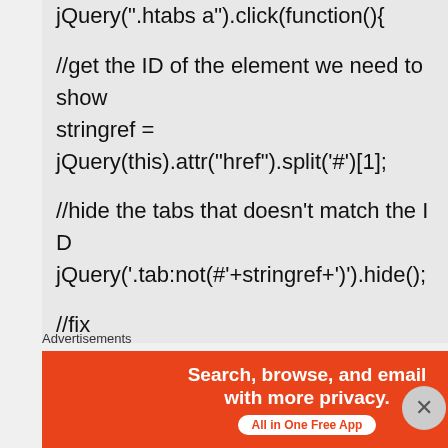jQuery(".htabs a").click(function(){

//get the ID of the element we need to show
stringref =
jQuery(this).attr("href").split('#')[1];

//hide the tabs that doesn't match the ID
jQuery('.tab:not(#'+stringref+')').hide();

//fix
if (jQuery.browser.msie &&
jQuery.browser.version.substr(0,3)
Advertisements
[Figure (screenshot): DuckDuckGo advertisement banner: orange left panel with text 'Search, browse, and email with more privacy. All in One Free App' and dark right panel with DuckDuckGo logo.]